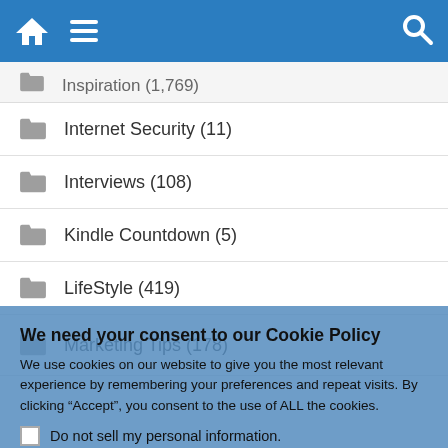[Navigation bar with home, menu, and search icons]
Inspiration (1,769) [partially visible, cropped]
Internet Security (11)
Interviews (108)
Kindle Countdown (5)
LifeStyle (419)
Marketing Tips (178) [partially visible]
We need your consent to our Cookie Policy
We use cookies on our website to give you the most relevant experience by remembering your preferences and repeat visits. By clicking “Accept”, you consent to the use of ALL the cookies.
Do not sell my personal information.
Cookie Settings  Accept